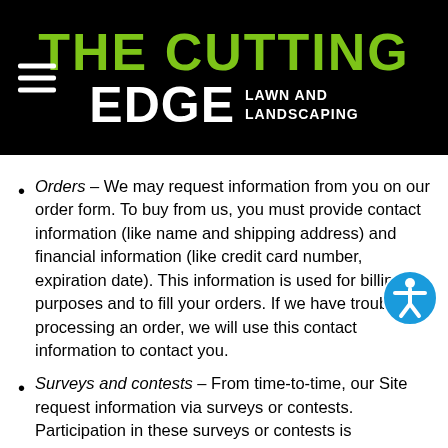THE CUTTING EDGE LAWN AND LANDSCAPING
Orders – We may request information from you on our order form. To buy from us, you must provide contact information (like name and shipping address) and financial information (like credit card number, expiration date). This information is used for billing purposes and to fill your orders. If we have trouble processing an order, we will use this contact information to contact you.
Surveys and contests – From time-to-time, our Site request information via surveys or contests. Participation in these surveys or contests is completely voluntary and you may choose whether or not to participate and therefore disclose this information. Information requested may include contact information (such as name and shipping address), and demographic information (such as zip code, age level). Contact information will be used to notify the winners and award prizes. Survey information will be used for purposes of monitoring or improving the use and satisfaction of this Site.